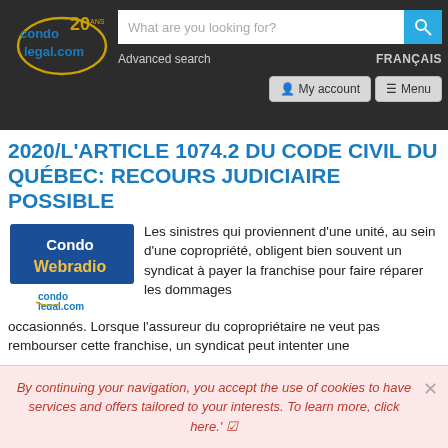[Figure (logo): condolegal.com logo with 20th anniversary badge]
What are you looking for?
Advanced search
FRANÇAIS
My account
Menu
2020/L'ARTICLE 1074.2 DU CODE CIVIL DU QUÉBEC: RECOURS JUDICIAIRE POSSIBLE
[Figure (logo): Condo Webradio and condolegal.com logo]
Les sinistres qui proviennent d'une unité, au sein d'une copropriété, obligent bien souvent un syndicat à payer la franchise pour faire réparer les dommages occasionnés. Lorsque l'assureur du copropriétaire ne veut pas rembourser cette franchise, un syndicat peut intenter une
By continuing your navigation, you accept the use of cookies to have services and offers tailored to your interests. To learn more, click here.' ☑